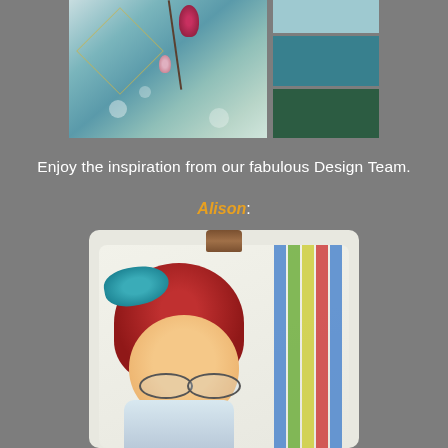[Figure (photo): Collage of magnolia branch photo with teal/pink bokeh background and three color swatches (light blue-gray, teal, dark green) arranged to the right]
Enjoy the inspiration from our fabulous Design Team.
Alison:
[Figure (photo): Craft card featuring an illustrated anime-style girl with red hair, teal bow headband, and round glasses, held by a wooden clothespin, with colorful striped background]